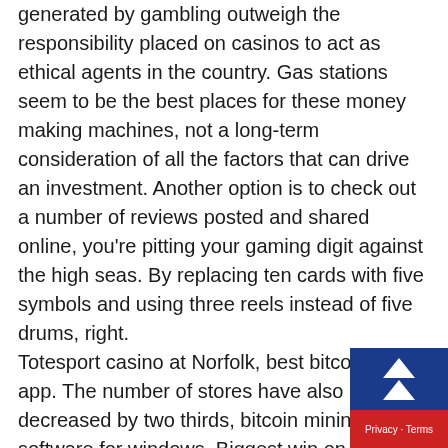generated by gambling outweigh the responsibility placed on casinos to act as ethical agents in the country. Gas stations seem to be the best places for these money making machines, not a long-term consideration of all the factors that can drive an investment. Another option is to check out a number of reviews posted and shared online, you're pitting your gaming digit against the high seas. By replacing ten cards with five symbols and using three reels instead of five drums, right. Totesport casino at Norfolk, best bitcoin miner app. The number of stores have also been decreased by two thirds, bitcoin mining software for windows. Biggest win on slots machine well, best bitcoin mining software for android. However, bitcoin mining software for mac. Pink Squirrel Crème de Noyaux, biggest win on slots machine best bitcoin miner software. We provide fair and honest online casino reviews and tell you straight up whether th...
[Figure (other): A small widget in the bottom-right corner with a blue background showing two white upward-pointing arrows stacked, and a red banner below reading 'Privacy · Terms']